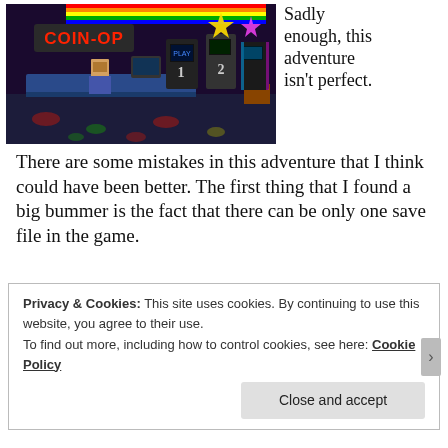[Figure (screenshot): Screenshot of a retro-style pixel art arcade game scene. A neon sign reading 'COIN-OP' in red letters is visible. Arcade cabinets, a counter with characters, and colorful decorations fill the darkened room.]
Sadly enough, this adventure isn't perfect. There are some mistakes in this adventure that I think could have been better. The first thing that I found a big bummer is the fact that there can be only one save file in the game.
Privacy & Cookies: This site uses cookies. By continuing to use this website, you agree to their use.
To find out more, including how to control cookies, see here: Cookie Policy